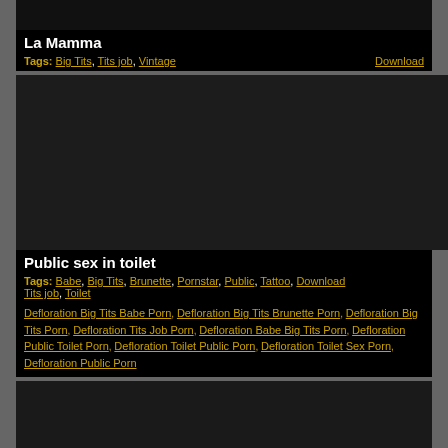[Figure (photo): Partial video thumbnail at top of page (cropped)]
La Mamma
Tags: Big Tits, Tits job, Vintage   Download
[Figure (photo): Video thumbnail showing bathroom scene]
Public sex in toilet
Tags: Babe, Big Tits, Brunette, Pornstar, Public, Tattoo, Download Tits job, Toilet
Defloration Big Tits Babe Porn, Defloration Big Tits Brunette Porn, Defloration Big Tits Porn, Defloration Tits Job Porn, Defloration Babe Big Tits Porn, Defloration Public Toilet Porn, Defloration Toilet Public Porn, Defloration Toilet Sex Porn, Defloration Public Porn
[Figure (photo): Partial video thumbnail at bottom of page (cropped)]